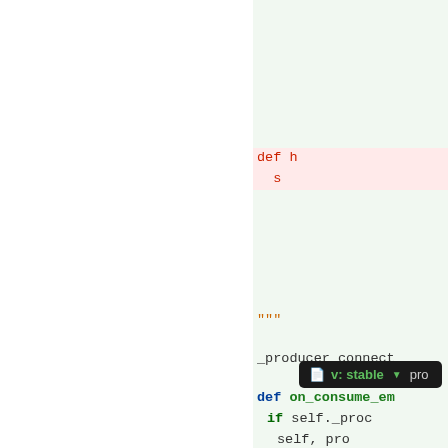[Figure (screenshot): A code editor screenshot showing Python source code. Left panel is white (blank), right panel has a light green background with Python code. Visible code includes a deleted 'def' line (red), a docstring closing triple-quote, a '_producer_connect' line, a 'def on_consume_em' function definition (blue keyword, green name), an 'if self._proc' conditional, 'self, pro' lines, and '@property' decorator. A dark tooltip bar shows 'v: stable' with a dropdown arrow.]